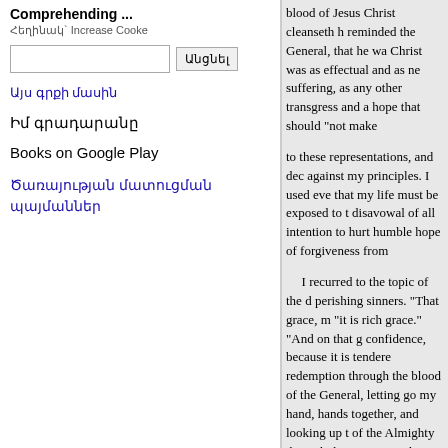Comprehending ...
Հեղինակ` Increase Cooke
Այս գրքի մասին
Իմ գրադարանը
Books on Google Play
Ծառայության մատուցման պայմաններ
blood of Jesus Christ cleanseth h reminded the General, that he wa Christ was as effectual and as ne suffering, as any other transgress and a hope that should "not make to these representations, and dec against my principles. I used eve that my life must be exposed to t disavowal of all intention to hurt humble hope of forgiveness from I recurred to the topic of the d perishing sinners. "That grace, m "it is rich grace." "And on that g confidence, because it is tendere redemption through the blood of the General, letting go my hand, hands together, and looking up t of the Almighty through the mer somewhat spent, closed his eyes. "The simple truths of the gosp veracity of God who cannot lie,